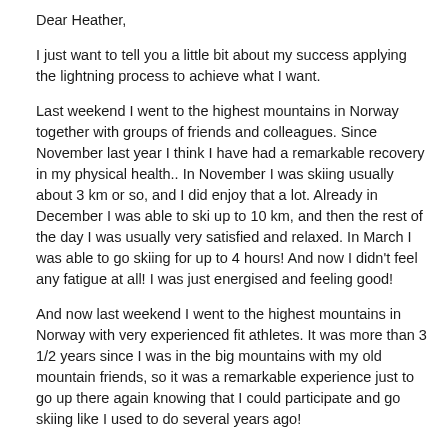Dear Heather,
I just want to tell you a little bit about my success applying the lightning process to achieve what I want.
Last weekend I went to the highest mountains in Norway together with groups of friends and colleagues. Since November last year I think I have had a remarkable recovery in my physical health.. In November I was skiing usually about 3 km or so, and I did enjoy that a lot. Already in December I was able to ski up to 10 km, and then the rest of the day I was usually very satisfied and relaxed. In March I was able to go skiing for up to 4 hours! And now I didn't feel any fatigue at all! I was just energised and feeling good!
And now last weekend I went to the highest mountains in Norway with very experienced fit athletes. It was more than 3 1/2 years since I was in the big mountains with my old mountain friends, so it was a remarkable experience just to go up there again knowing that I could participate and go skiing like I used to do several years ago!
The first day we were heading for a peak that was around